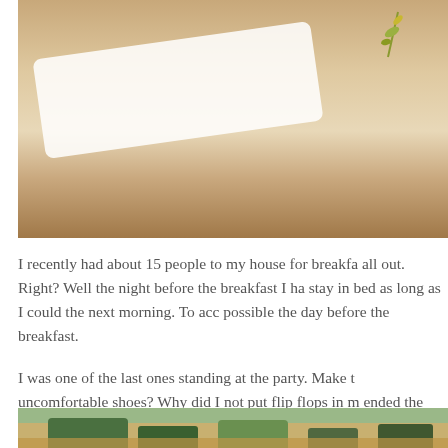[Figure (photo): Close-up photo of food on a white plate with a garnish/herb sprig, warm tones]
I recently had about 15 people to my house for breakfast all out. Right? Well the night before the breakfast I ha stay in bed as long as I could the next morning. To acc possible the day before the breakfast.
I was one of the last ones standing at the party. Make t uncomfortable shoes? Why did I not put flip flops in m ended the night at a packed taco joint in Lincoln Park a
Needless to say, it was a very good thing I planned ahe morning. The only thing I had to do to these casseroles cheese and toss them in the oven.
[Figure (photo): Bottom photo showing a casserole dish with food, warm tones with greens and browns]